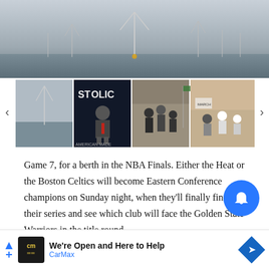[Figure (photo): Offshore wind turbines at sea, misty gray sky, large main image]
[Figure (photo): Strip of four thumbnail images: offshore wind turbine, man speaking at podium with 'STOLIC' text, group of people in building, protest or event scene with navigation arrows]
Game 7, for a berth in the NBA Finals. Either the Heat or the Boston Celtics will become Eastern Conference champions on Sunday night, when they'll finally finish their series and see which club will face the Golden State Warriors in the title round.
It'll be the second Game 7 between the teams; the oth... in 2012, when the Heat topped the Celtics 101-88 to ... year's East title.
"Look...    ff